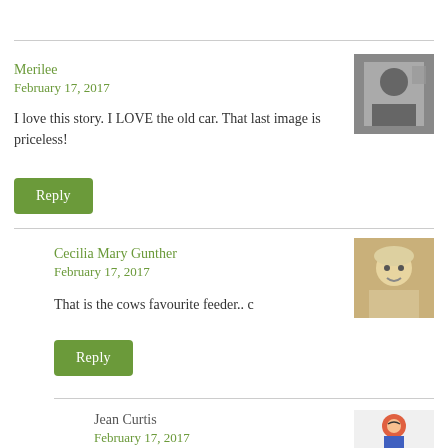Merilee
February 17, 2017
I love this story. I LOVE the old car. That last image is priceless!
Reply
[Figure (photo): Black and white photo of a person]
Cecilia Mary Gunther
February 17, 2017
That is the cows favourite feeder.. c
Reply
[Figure (photo): Color photo of a blonde woman smiling]
Jean Curtis
February 17, 2017
[Figure (illustration): Cartoon illustration of a character]